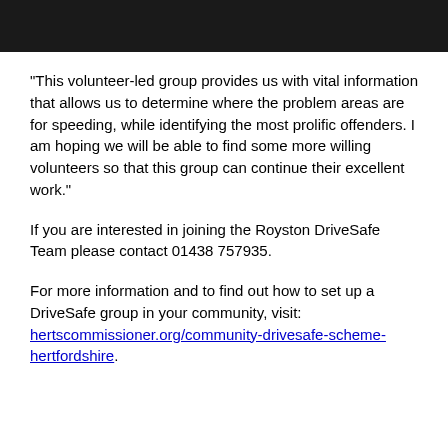[Figure (other): Dark/black rectangular banner bar at the top of the page]
“This volunteer-led group provides us with vital information that allows us to determine where the problem areas are for speeding, while identifying the most prolific offenders. I am hoping we will be able to find some more willing volunteers so that this group can continue their excellent work.”
If you are interested in joining the Royston DriveSafe Team please contact 01438 757935.
For more information and to find out how to set up a DriveSafe group in your community, visit: hertscommissioner.org/community-drivesafe-scheme-hertfordshire.